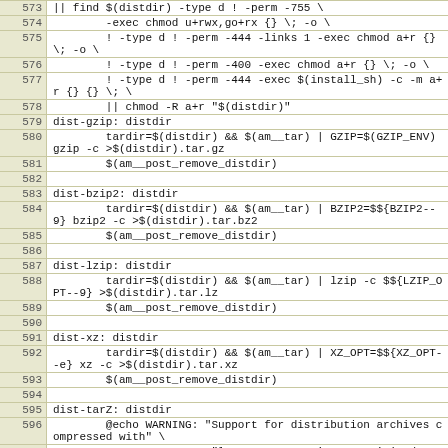| Line | Code |
| --- | --- |
| 573 | || find $(distdir) -type d ! -perm -755 \ |
| 574 |         -exec chmod u+rwx,go+rx {} \; -o \ |
| 575 |         ! -type d ! -perm -444 -links 1 -exec chmod a+r {} \; -o \ |
| 576 |         ! -type d ! -perm -400 -exec chmod a+r {} \; -o \ |
| 577 |         ! -type d ! -perm -444 -exec $(install_sh) -c -m a+r {} {} \; \ |
| 578 |         || chmod -R a+r "$(distdir)" |
| 579 | dist-gzip: distdir |
| 580 |         tardir=$(distdir) && $(am__tar) | GZIP=$(GZIP_ENV) gzip -c >$(distdir).tar.gz |
| 581 |         $(am__post_remove_distdir) |
| 582 |  |
| 583 | dist-bzip2: distdir |
| 584 |         tardir=$(distdir) && $(am__tar) | BZIP2=$${BZIP2--9} bzip2 -c >$(distdir).tar.bz2 |
| 585 |         $(am__post_remove_distdir) |
| 586 |  |
| 587 | dist-lzip: distdir |
| 588 |         tardir=$(distdir) && $(am__tar) | lzip -c $${LZIP_OPT--9} >$(distdir).tar.lz |
| 589 |         $(am__post_remove_distdir) |
| 590 |  |
| 591 | dist-xz: distdir |
| 592 |         tardir=$(distdir) && $(am__tar) | XZ_OPT=$${XZ_OPT--e} xz -c >$(distdir).tar.xz |
| 593 |         $(am__post_remove_distdir) |
| 594 |  |
| 595 | dist-tarZ: distdir |
| 596 |         @echo WARNING: "Support for distribution archives compressed with" \ |
| 597 |                         "legacy program 'compress' is deprecated." >&2 |